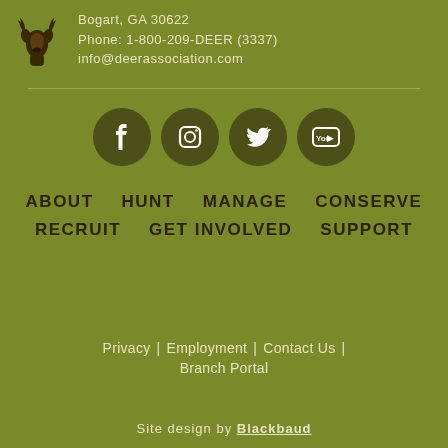[Figure (logo): Deer association logo - dark brown deer head silhouette on olive green background]
Bogart, GA 30622
Phone: 1-800-209-DEER (3337)
info@deerassociation.com
[Figure (infographic): Four social media icons in dark circles: Facebook, Instagram, Twitter, YouTube]
ABOUT    HUNT    MANAGE    CONSERVE
RECRUIT    GET INVOLVED    SUPPORT
Privacy | Employment | Contact Us | Branch Portal
Site design by Blackbaud